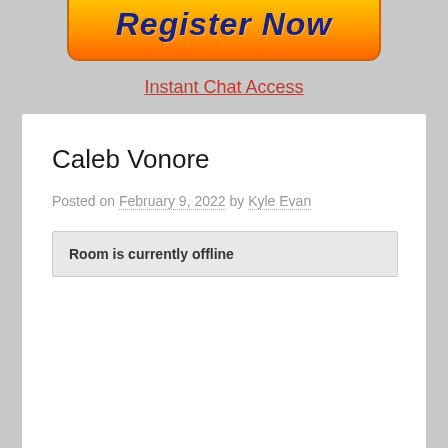[Figure (illustration): Orange and yellow gradient button with dark blue bold italic text 'Register Now']
Instant Chat Access
Caleb Vonore
Posted on February 9, 2022 by Kyle Evan
Room is currently offline